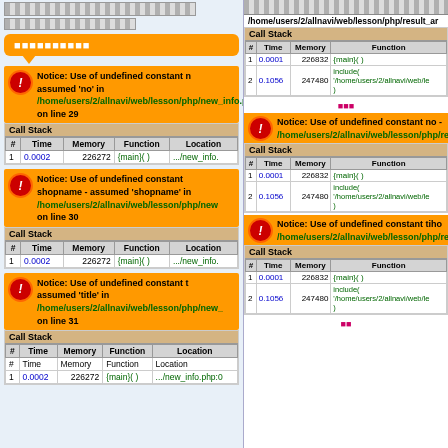■■■■■■■■■■ (orange chat bubble with Japanese characters)
Notice: Use of undefined constant n assumed 'no' in /home/users/2/allnavi/web/lesson/php/new_info.php on line 29
| # | Time | Memory | Function | Location |
| --- | --- | --- | --- | --- |
| 1 | 0.0002 | 226272 | {main}( ) | .../new_info. |
Notice: Use of undefined constant shopname - assumed 'shopname' in /home/users/2/allnavi/web/lesson/php/new on line 30
| # | Time | Memory | Function | Location |
| --- | --- | --- | --- | --- |
| 1 | 0.0002 | 226272 | {main}( ) | .../new_info. |
Notice: Use of undefined constant t assumed 'title' in /home/users/2/allnavi/web/lesson/php/new_ on line 31
| # | Time | Memory | Function | Location |
| --- | --- | --- | --- | --- |
| 1 | 0.0002 | 226272 | {main}( ) | .../new_info.php:0 |
/home/users/2/allnavi/web/lesson/php/result_ar
| # | Time | Memory | Function |
| --- | --- | --- | --- |
| 1 | 0.0001 | 226832 | {main}( ) |
| 2 | 0.1056 | 247480 | include( '/home/users/2/allnavi/web/le ) |
■■■
Notice: Use of undefined constant no - /home/users/2/allnavi/web/lesson/php/result_ar
| # | Time | Memory | Function |
| --- | --- | --- | --- |
| 1 | 0.0001 | 226832 | {main}( ) |
| 2 | 0.1056 | 247480 | include( '/home/users/2/allnavi/web/le ) |
Notice: Use of undefined constant tiho /home/users/2/allnavi/web/lesson/php/result_ar
| # | Time | Memory | Function |
| --- | --- | --- | --- |
| 1 | 0.0001 | 226832 | {main}( ) |
| 2 | 0.1056 | 247480 | include( '/home/users/2/allnavi/web/le ) |
■■